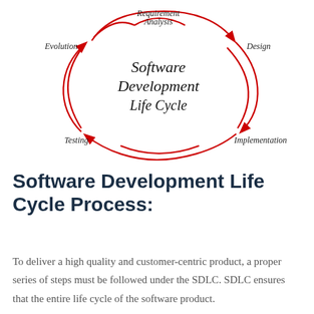[Figure (flowchart): Software Development Life Cycle circular diagram with 5 stages: Requirement Analysis (top), Design (right), Implementation (bottom-right), Testing (bottom-left), Evolution (left), connected by red curved arrows in a cycle, with 'Software Development Life Cycle' text in italic script at center.]
Software Development Life Cycle Process:
To deliver a high quality and customer-centric product, a proper series of steps must be followed under the SDLC. SDLC ensures that the entire life cycle of the software product.